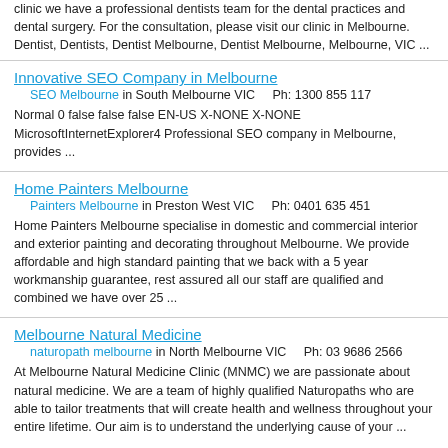clinic we have a professional dentists team for the dental practices and dental surgery. For the consultation, please visit our clinic in Melbourne. Dentist, Dentists, Dentist Melbourne, Dentist Melbourne, Melbourne, VIC ...
Innovative SEO Company in Melbourne
SEO Melbourne in South Melbourne VIC    Ph: 1300 855 117
Normal 0 false false false EN-US X-NONE X-NONE MicrosoftInternetExplorer4 Professional SEO company in Melbourne, provides ...
Home Painters Melbourne
Painters Melbourne in Preston West VIC    Ph: 0401 635 451
Home Painters Melbourne specialise in domestic and commercial interior and exterior painting and decorating throughout Melbourne. We provide affordable and high standard painting that we back with a 5 year workmanship guarantee, rest assured all our staff are qualified and combined we have over 25 ...
Melbourne Natural Medicine
naturopath melbourne in North Melbourne VIC    Ph: 03 9686 2566
At Melbourne Natural Medicine Clinic (MNMC) we are passionate about natural medicine. We are a team of highly qualified Naturopaths who are able to tailor treatments that will create health and wellness throughout your entire lifetime. Our aim is to understand the underlying cause of your ...